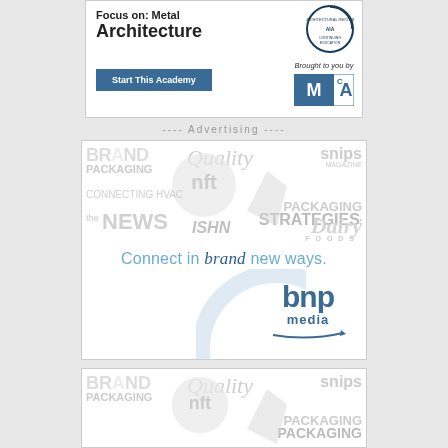[Figure (advertisement): Top advertisement for Focus on Metal Architecture academy with Start This Academy button, MCA logo, and architectural record badge]
---- Advertising ----
[Figure (advertisement): BNP Media advertisement showing various publication brand names as watermarks (Brand Packaging, Quality, SNIPS, the NEWS, ISHN, Dairy Foods, Packaging Strategies) with tagline 'Connect in brand new ways.' and bnp media logo]
[Figure (advertisement): Partial bottom advertisement showing same BNP Media brand watermarks pattern (Brand Packaging, Quality, SNIPS, Packaging)]